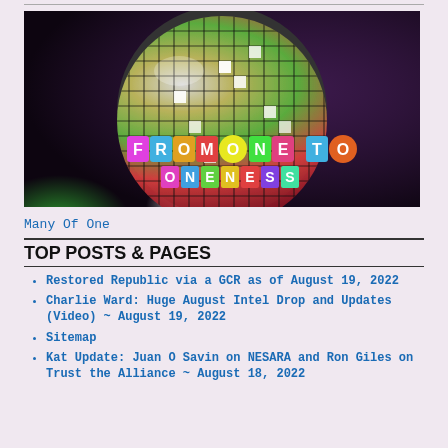[Figure (illustration): A colorful disco ball with rainbow mosaic tiles on a dark background. Text overlay reads 'FROM ONE TO ONENESS' in multicolored block letters.]
Many Of One
TOP POSTS & PAGES
Restored Republic via a GCR as of August 19, 2022
Charlie Ward: Huge August Intel Drop and Updates (Video) ~ August 19, 2022
Sitemap
Kat Update: Juan O Savin on NESARA and Ron Giles on Trust the Alliance ~ August 18, 2022